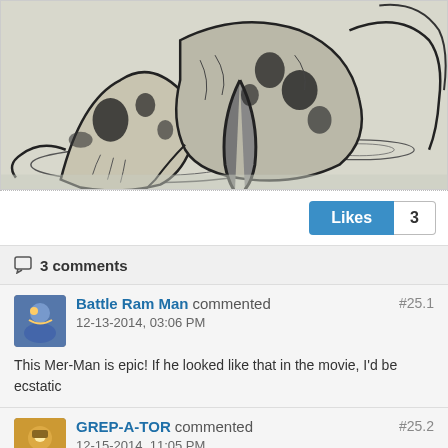[Figure (illustration): Black and white ink drawing of a creature (Mer-Man) with tentacles/fins emerging from water, depicted in a detailed comic art style]
Likes 3
3 comments
Battle Ram Man commented 12-13-2014, 03:06 PM #25.1
This Mer-Man is epic! If he looked like that in the movie, I'd be ecstatic
GREP-A-TOR commented 12-15-2014, 11:05 PM #25.2
super awesome!